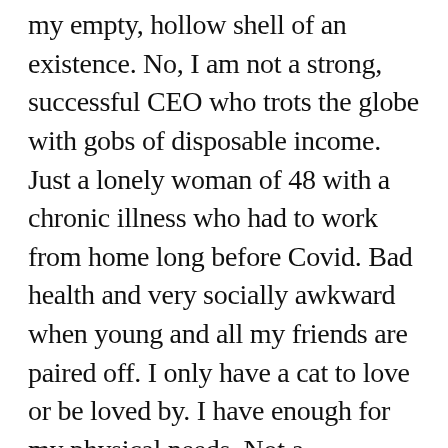my empty, hollow shell of an existence. No, I am not a strong, successful CEO who trots the globe with gobs of disposable income. Just a lonely woman of 48 with a chronic illness who had to work from home long before Covid. Bad health and very socially awkward when young and all my friends are paired off. I only have a cat to love or be loved by. I have enough for my physical needs. Not a materialist.
I never demanded men be over six feet and millionaires either. When I was still